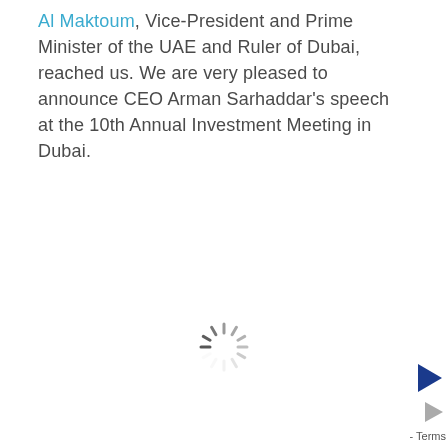Al Maktoum, Vice-President and Prime Minister of the UAE and Ruler of Dubai, reached us. We are very pleased to announce CEO Arman Sarhaddar's speech at the 10th Annual Investment Meeting in Dubai.
[Figure (other): Loading spinner icon (animated wheel) in the lower center of the page]
[Figure (logo): Small blue arrow/play icon and grey arrow icon in the bottom right corner, with 'Terms' text label]